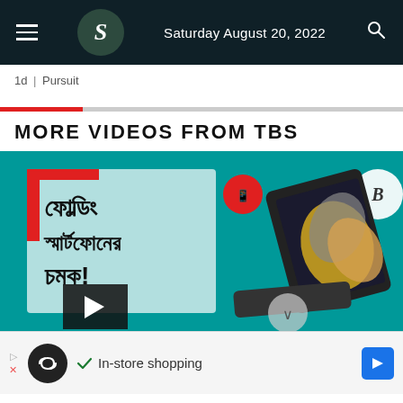Saturday August 20, 2022
1d | Pursuit
MORE VIDEOS FROM TBS
[Figure (screenshot): Video thumbnail showing a folding smartphone advertisement with Bengali text and a Samsung Galaxy Z Fold device on teal background, with a play button overlay.]
In-store shopping